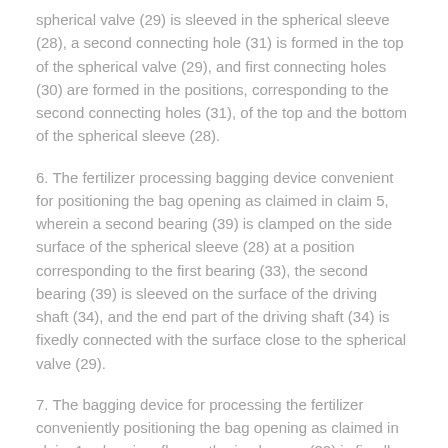spherical valve (29) is sleeved in the spherical sleeve (28), a second connecting hole (31) is formed in the top of the spherical valve (29), and first connecting holes (30) are formed in the positions, corresponding to the second connecting holes (31), of the top and the bottom of the spherical sleeve (28).
6. The fertilizer processing bagging device convenient for positioning the bag opening as claimed in claim 5, wherein a second bearing (39) is clamped on the side surface of the spherical sleeve (28) at a position corresponding to the first bearing (33), the second bearing (39) is sleeved on the surface of the driving shaft (34), and the end part of the driving shaft (34) is fixedly connected with the surface close to the spherical valve (29).
7. The bagging device for processing the fertilizer conveniently positioning the bag opening as claimed in claim 1, wherein a flow gathering hopper (32) is fixedly connected to the inner portion of the discharge pipe (27), the bottom of the flow gathering hopper (32) is fixedly connected with the top of the spherical sleeve (28), and a hopper-shaped through hole of the flow gathering hopper